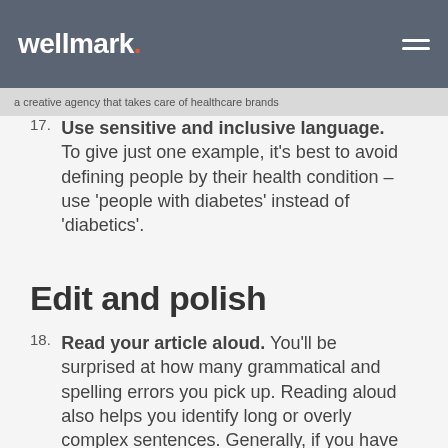wellmark. | a creative agency that takes care of healthcare brands
17. Use sensitive and inclusive language. To give just one example, it’s best to avoid defining people by their health condition – use ‘people with diabetes’ instead of ‘diabetics’.
Edit and polish
18. Read your article aloud. You’ll be surprised at how many grammatical and spelling errors you pick up. Reading aloud also helps you identify long or overly complex sentences. Generally, if you have to take a breath in the middle of a sentence, it’s too long.